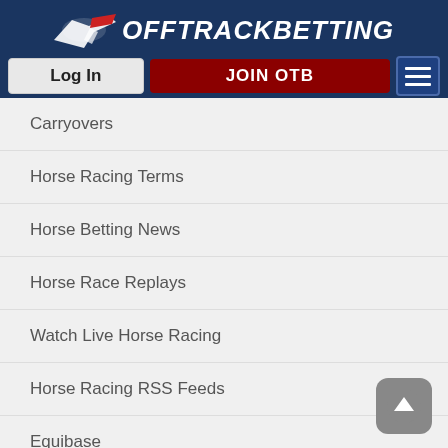[Figure (logo): OffTrackBetting logo with horse racing graphic and site name in white italic text on dark blue background, with Log In button, JOIN OTB button, and hamburger menu button]
Carryovers
Horse Racing Terms
Horse Betting News
Horse Race Replays
Watch Live Horse Racing
Horse Racing RSS Feeds
Equibase